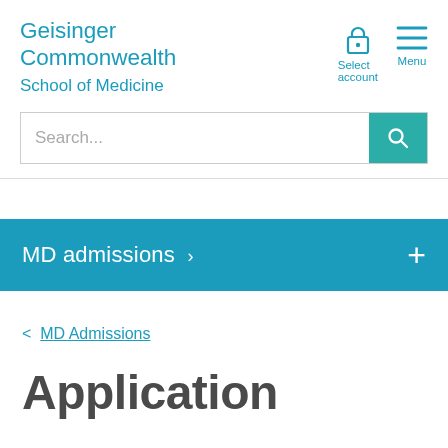[Figure (logo): Geisinger Commonwealth School of Medicine logo text in teal/blue color]
[Figure (infographic): Navigation icons: lock icon with 'Select account' label and hamburger menu icon with 'Menu' label]
[Figure (screenshot): Search input bar with 'Search...' placeholder and teal search button with magnifying glass icon]
MD admissions >
< MD Admissions
Application